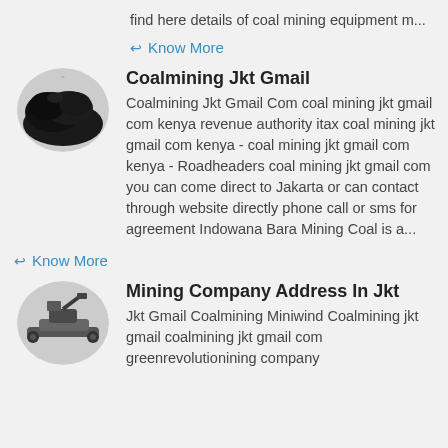find here details of coal mining equipment m...
Know More
Coalmining Jkt Gmail
Coalmining Jkt Gmail Com coal mining jkt gmail com kenya revenue authority itax coal mining jkt gmail com kenya - coal mining jkt gmail com kenya - Roadheaders coal mining jkt gmail com you can come direct to Jakarta or can contact through website directly phone call or sms for agreement Indowana Bara Mining Coal is a...
Know More
Mining Company Address In Jkt
Jkt Gmail Coalmining Miniwind Coalmining jkt gmail coalmining jkt gmail com greenrevolutionining company